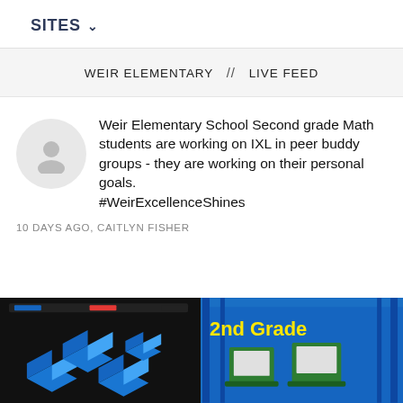SITES
WEIR ELEMENTARY // LIVE FEED
Weir Elementary School Second grade Math students are working on IXL in peer buddy groups - they are working on their personal goals. #WeirExcellenceShines
10 DAYS AGO, CAITLYN FISHER
[Figure (photo): Two-panel classroom photo. Left panel shows a dark display board with blue 3D geometric shapes (cubes/rectangular prisms). Right panel shows students working on laptops with '2nd Grade' text overlaid in yellow, and a blue/striped banner in background.]